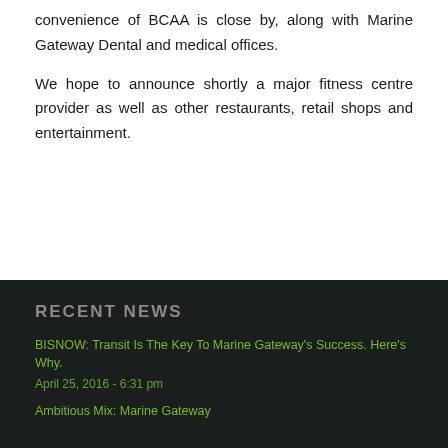convenience of BCAA is close by, along with Marine Gateway Dental and medical offices.
We hope to announce shortly a major fitness centre provider as well as other restaurants, retail shops and entertainment.
RECENT NEWS
BISNOW: Transit Is The Key To Marine Gateway's Success. Here's Why.
April 25, 2016 - 6:31 pm
Ambitious Mix: Marine Gateway